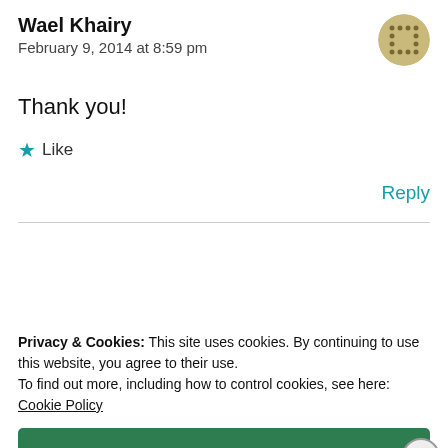Wael Khairy
February 9, 2014 at 8:59 pm
Thank you!
★ Like
Reply
Privacy & Cookies: This site uses cookies. By continuing to use this website, you agree to their use.
To find out more, including how to control cookies, see here:
Cookie Policy
Close and accept